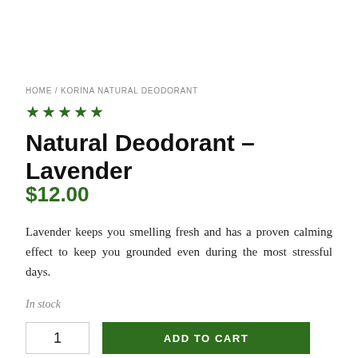HOME / KORINA NATURAL DEODORANT
★★★★★
Natural Deodorant - Lavender
$12.00
Lavender keeps you smelling fresh and has a proven calming effect to keep you grounded even during the most stressful days.
In stock
1
ADD TO CART